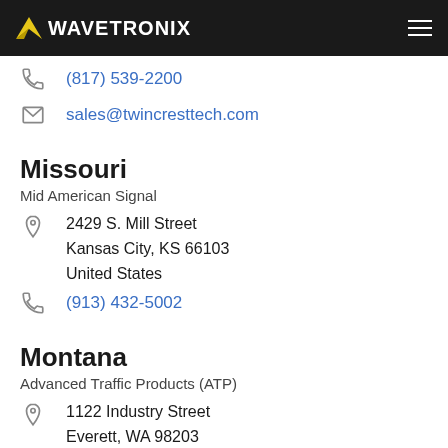WAVETRONIX
(817) 539-2200
sales@twincresttech.com
Missouri
Mid American Signal
2429 S. Mill Street
Kansas City, KS 66103
United States
(913) 432-5002
Montana
Advanced Traffic Products (ATP)
1122 Industry Street
Everett, WA 98203